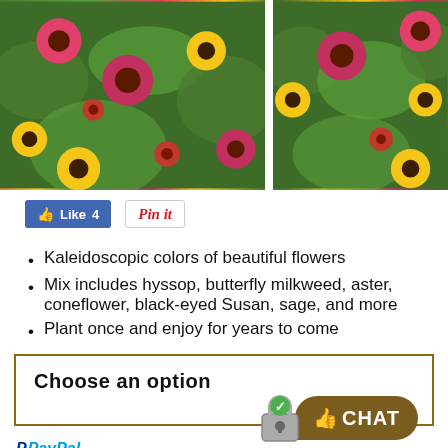[Figure (photo): Two side-by-side photos of colorful wildflowers including pink coneflowers, yellow black-eyed Susans, and red flowers with green foliage]
[Figure (infographic): Facebook Like button showing 'Like 4' and a Pinterest 'Pin it' button]
Kaleidoscopic colors of beautiful flowers
Mix includes hyssop, butterfly milkweed, aster, coneflower, black-eyed Susan, sage, and more
Plant once and enjoy for years to come
Choose an option
PayPal Pay in 4 interest-free payments on purchases of $30-$1,500.
Learn more
* Your final payment amount will be calculated at the time of checkout.
starting at